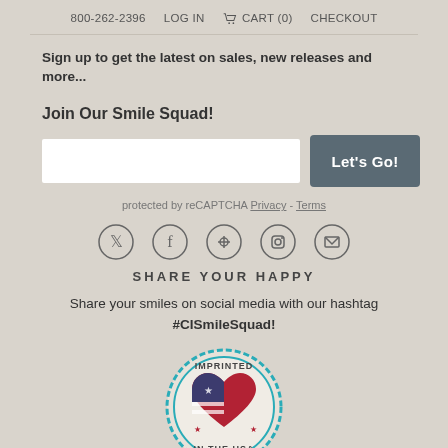800-262-2396  LOG IN  CART (0)  CHECKOUT
Sign up to get the latest on sales, new releases and more...
Join Our Smile Squad!
protected by reCAPTCHA  Privacy - Terms
[Figure (other): Social media icons: Twitter, Facebook, Pinterest, Instagram, Email in circles]
SHARE YOUR HAPPY
Share your smiles on social media with our hashtag #CISmileSquad!
[Figure (illustration): Circular badge reading IMPRINTED IN THE USA with an American flag heart in the center, teal border with scalloped edge]